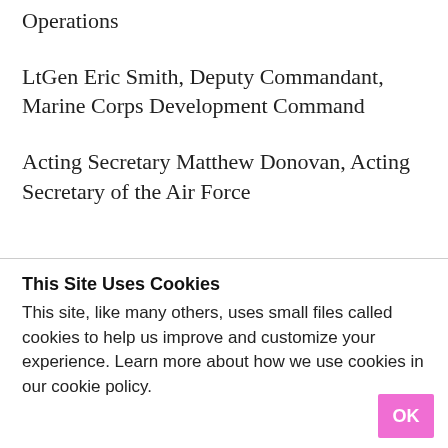Operations
LtGen Eric Smith, Deputy Commandant, Marine Corps Development Command
Acting Secretary Matthew Donovan, Acting Secretary of the Air Force
This Site Uses Cookies
This site, like many others, uses small files called cookies to help us improve and customize your experience. Learn more about how we use cookies in our cookie policy.